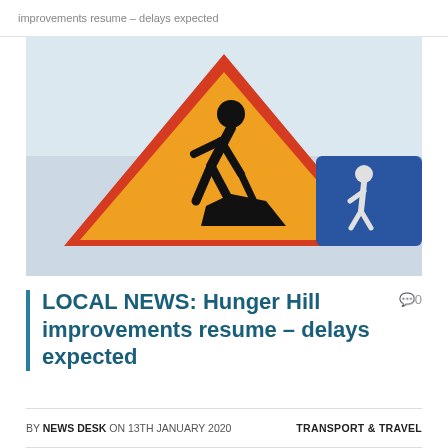improvements resume – delays expected
[Figure (photo): Road works warning sign: orange triangle with red border showing a worker digging with a shovel, against a light blue sky background. A blue square sign is partially visible in the background.]
LOCAL NEWS: Hunger Hill improvements resume – delays expected
BY NEWS DESK ON 13TH JANUARY 2020    TRANSPORT & TRAVEL